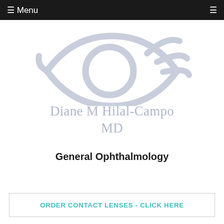☰ Menu
[Figure (logo): Stylized eye outline logo in light blue-grey, suggesting an eye with eyelashes, for Diane M Hilal-Campo MD ophthalmology practice]
Diane M Hilal-Campo MD
General Ophthalmology
ORDER CONTACT LENSES - CLICK HERE